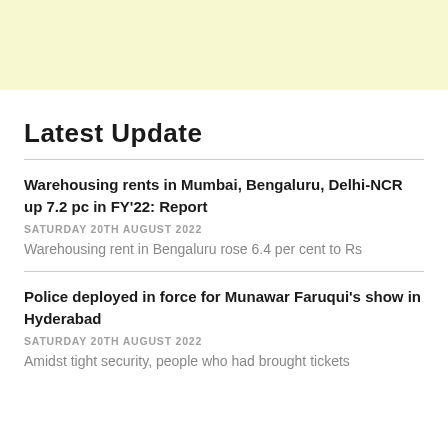[Figure (other): Light yellow/cream colored banner at top of page]
Latest Update
Warehousing rents in Mumbai, Bengaluru, Delhi-NCR up 7.2 pc in FY’22: Report
SATURDAY 20TH AUGUST 2022
Warehousing rent in Bengaluru rose 6.4 per cent to Rs
Police deployed in force for Munawar Faruqui’s show in Hyderabad
SATURDAY 20TH AUGUST 2022
Amidst tight security, people who had brought tickets